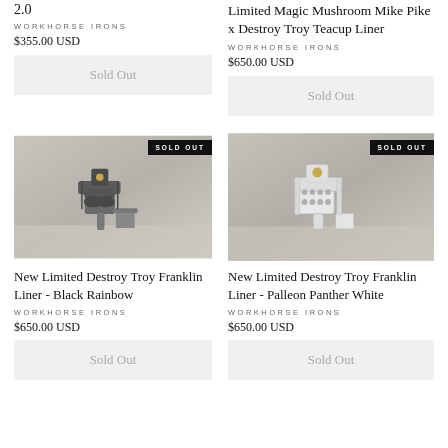2.0
WORKHORSE IRONS
$355.00 USD
Sold Out
Limited Magic Mushroom Mike Pike x Destroy Troy Teacup Liner
WORKHORSE IRONS
$650.00 USD
Sold Out
[Figure (photo): Tattoo machine - Black Rainbow variant with SOLD OUT badge]
[Figure (photo): Tattoo machine - Palleon Panther White variant with SOLD OUT badge]
New Limited Destroy Troy Franklin Liner - Black Rainbow
WORKHORSE IRONS
$650.00 USD
Sold Out
New Limited Destroy Troy Franklin Liner - Palleon Panther White
WORKHORSE IRONS
$650.00 USD
Sold Out